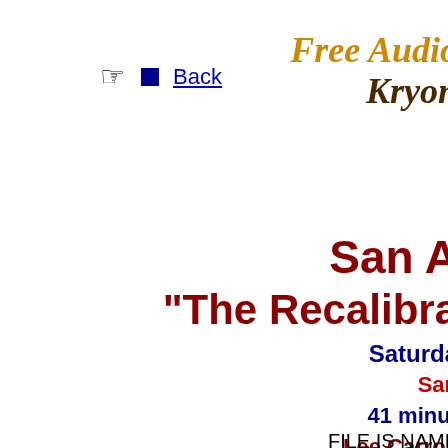☞ Back
Free Audio Kryon
San A... "The Recalibra... Saturday
San... 41 minut... Lee Carroll
FILE IS NAME...
WHAT TO DO: FIRST, YOU M...
With a fast Internet DSL connection, even a file that is... any personal information... no regist...